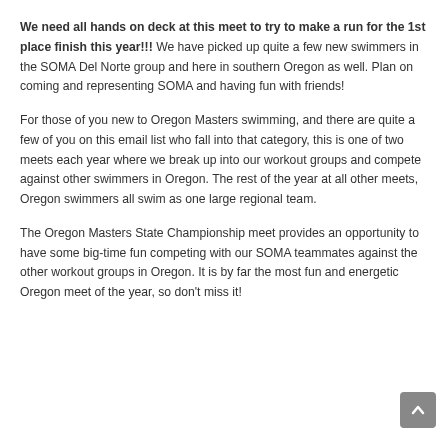We need all hands on deck at this meet to try to make a run for the 1st place finish this year!!!  We have picked up quite a few new swimmers in the SOMA Del Norte group and here in southern Oregon as well.  Plan on coming and representing SOMA and having fun with friends!
For those of you new to Oregon Masters swimming, and there are quite a few of you on this email list who fall into that category, this is one of two meets each year where we break up into our workout groups and compete against other swimmers in Oregon.  The rest of the year at all other meets, Oregon swimmers all swim as one large regional team.
The Oregon Masters State Championship meet provides an opportunity to have some big-time fun competing with our SOMA teammates against the other workout groups in Oregon.  It is by far the most fun and energetic Oregon meet of the year, so don't miss it!